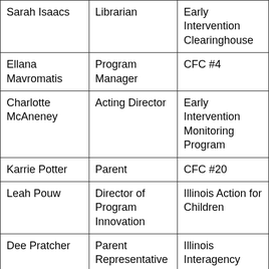| Sarah Isaacs | Librarian | Early Intervention Clearinghouse |
| Ellana Mavromatis | Program Manager | CFC #4 |
| Charlotte McAneney | Acting Director | Early Intervention Monitoring Program |
| Karrie Potter | Parent | CFC #20 |
| Leah Pouw | Director of Program Innovation | Illinois Action for Children |
| Dee Pratcher | Parent Representative | Illinois Interagency Council on Early Intervention |